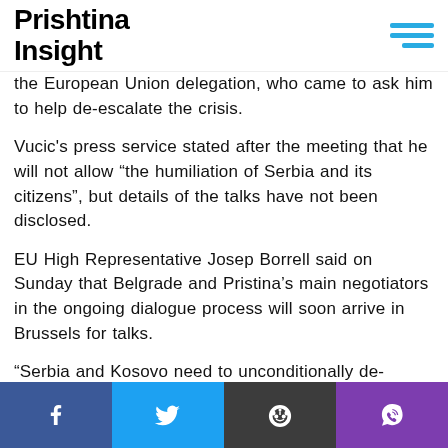Prishtina Insight
the European Union delegation, who came to ask him to help de-escalate the crisis.
Vucic's press service stated after the meeting that he will not allow “the humiliation of Serbia and its citizens”, but details of the talks have not been disclosed.
EU High Representative Josep Borrell said on Sunday that Belgrade and Pristina’s main negotiators in the ongoing dialogue process will soon arrive in Brussels for talks.
“Serbia and Kosovo need to unconditionally de-escalate the situation on the ground, by immediately withdrawing special police units and dismantling of roadblocks,” Borrell said in a statement.
Social share bar: Facebook, Twitter, Reddit, Viber